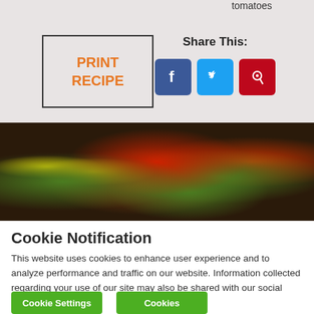tomatoes
PRINT RECIPE
Share This:
[Figure (illustration): Social media share icons: Facebook (blue), Twitter (cyan), Pinterest (red)]
[Figure (photo): Close-up photo of a food dish with nachos, eggs, salsa, guacamole, and cilantro on a dark background]
Cookie Notification
This website uses cookies to enhance user experience and to analyze performance and traffic on our website. Information collected regarding your use of our site may also be shared with our social media, advertising, and analytics partners.
Cookie Settings   Cookies